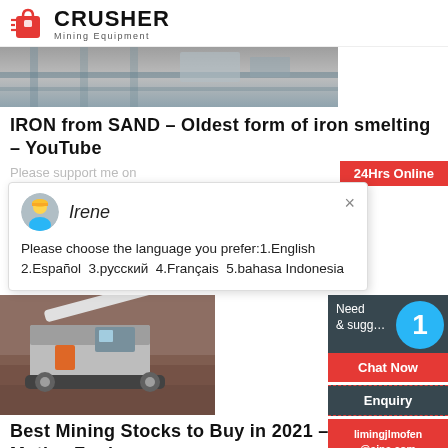[Figure (logo): Crusher Mining Equipment logo with red shopping bag icon and bold CRUSHER text]
[Figure (photo): Industrial machinery/steel structure thumbnail image (top, partially visible)]
IRON from SAND - Oldest form of iron smelting - YouTube
Please support me on
24Hrs Online
[Figure (screenshot): Chat popup with avatar of Irene saying: Please choose the language you prefer:1.English 2.Español 3.русский 4.Français 5.bahasa Indonesia]
[Figure (photo): Mining crusher equipment on dirt/excavation site]
Need & suggestions
1
Chat Now
Enquiry
limingjlmofen@sina.com
Best Mining Stocks to Buy in 2021 - Motley Fool